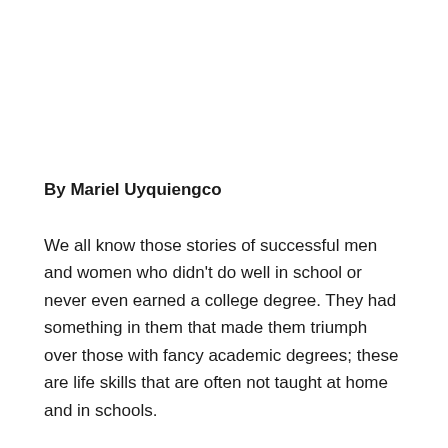By Mariel Uyquiengco
We all know those stories of successful men and women who didn't do well in school or never even earned a college degree. They had something in them that made them triumph over those with fancy academic degrees; these are life skills that are often not taught at home and in schools.
Life skills are basic things that children need to know in order to successfully navigate adulthood. According to UNICEF, these are psycho social and personal skills that parents